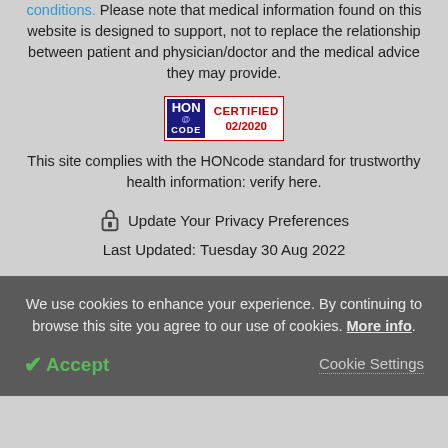conditions. Please note that medical information found on this website is designed to support, not to replace the relationship between patient and physician/doctor and the medical advice they may provide.
[Figure (logo): HONcode certified badge showing HON@CODE logo with CERTIFIED 02/2020 text in red]
This site complies with the HONcode standard for trustworthy health information: verify here.
Update Your Privacy Preferences
Last Updated: Tuesday 30 Aug 2022
We use cookies to enhance your experience. By continuing to browse this site you agree to our use of cookies. More info.
✔ Accept
Cookie Settings